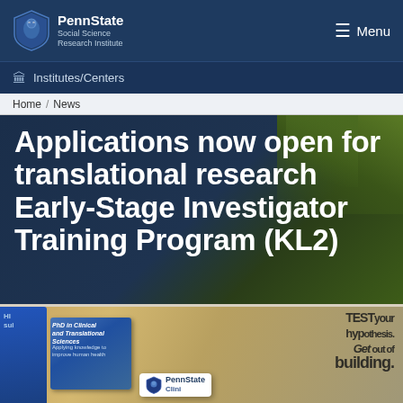PennState Social Science Research Institute
Institutes/Centers
Home / News
Applications now open for translational research Early-Stage Investigator Training Program (KL2)
[Figure (photo): Photo of Penn State clinical and translational science brochures and materials spread on a table, with text 'PhD in Clinical and Translational Sciences', 'Test your hypothesis. Get out of the building.', and a Penn State Clinical logo card visible.]